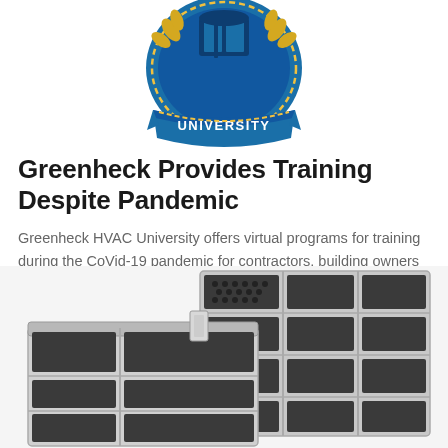[Figure (logo): Greenheck HVAC University circular badge logo in blue and gold with 'UNIVERSITY' text banner at bottom]
Greenheck Provides Training Despite Pandemic
Greenheck HVAC University offers virtual programs for training during the CoVid-19 pandemic for contractors, building owners and engineers.
[Figure (photo): HVAC equipment — two grey metal air handling units with honeycomb/perforated panels, shown at an angle]